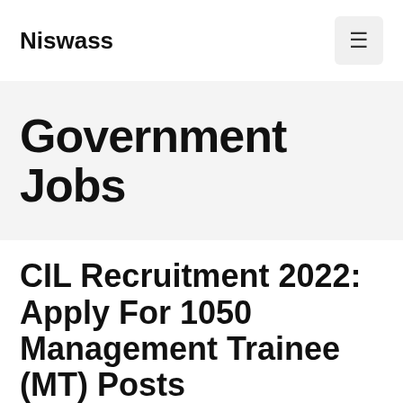Niswass
Government Jobs
CIL Recruitment 2022: Apply For 1050 Management Trainee (MT) Posts